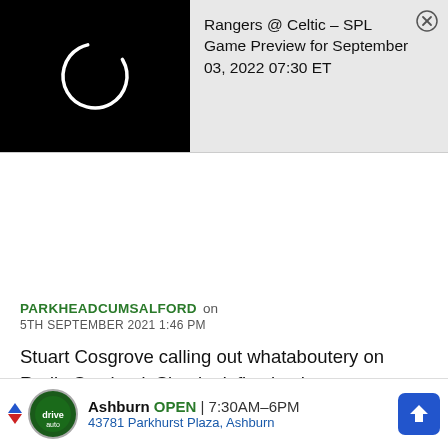[Figure (screenshot): Notification banner showing loading spinner icon on black background on left, and text 'Rangers @ Celtic - SPL Game Preview for September 03, 2022 07:30 ET' on grey background on right, with X close button]
PARKHEADCUMSALFORD on
5TH SEPTEMBER 2021 1:46 PM
Stuart Cosgrove calling out whataboutery on Radio Scotland. Simply deflection he says.
[Figure (screenshot): Advertisement banner for Ashburn auto business: logo on left, 'Ashburn OPEN 7:30AM-6PM 43781 Parkhurst Plaza, Ashburn', navigation arrow icon on right]